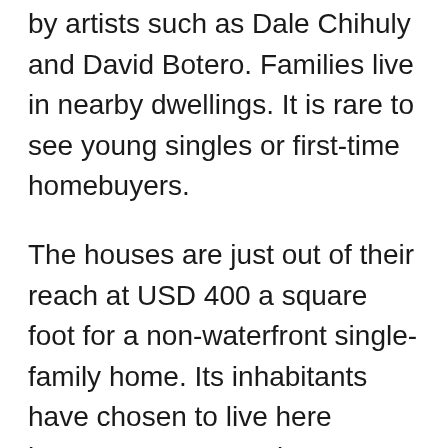by artists such as Dale Chihuly and David Botero. Families live in nearby dwellings. It is rare to see young singles or first-time homebuyers.
The houses are just out of their reach at USD 400 a square foot for a non-waterfront single-family home. Its inhabitants have chosen to live here because property prices are quite reasonable. Living in Coral Gables is ideal for raising a family. Alongside the traffic circles, the city boasts one of the lowest crime rates in the Miami-Dade area. Besides, the city services are also admirable. In a planned city with incredible beauty, elegance, and